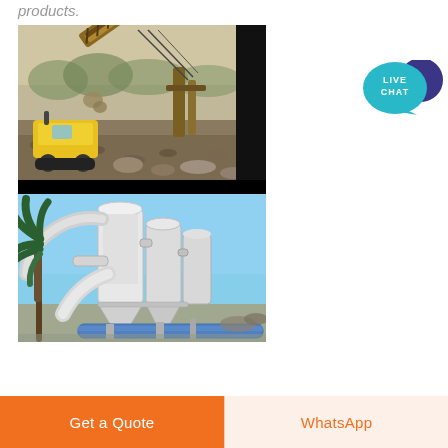products.
[Figure (photo): Industrial conveyor belt system carrying aggregate/gravel at a mining or quarrying site, with a yellow bulldozer visible in the lower left and rocky ground below]
[Figure (photo): Industrial grinding mill or dust collection system with white cylindrical tanks, pipes, and a palm tree visible on the left side, blue pipes at the bottom]
[Figure (logo): Live Chat button - teal circular speech bubble with text LIVE CHAT, dark purple circle behind it]
Get a Quote
WhatsApp